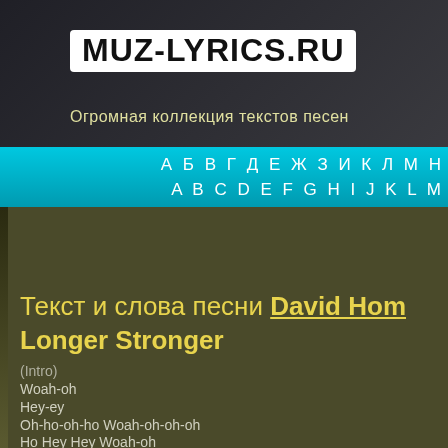MUZ-LYRICS.RU
Огромная коллекция текстов песен
А Б В Г Д Е Ж З И К Л М Н   A B C D E F G H I J K L M
Текст и слова песни David Hom Longer Stronger
(Intro)
Woah-oh
Hey-ey
Oh-ho-oh-ho Woah-oh-oh-oh
Ho Hey Hey Woah-oh
Hey Hey Woah-oh